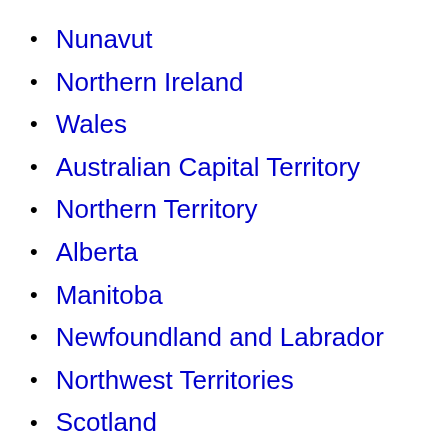Nunavut
Northern Ireland
Wales
Australian Capital Territory
Northern Territory
Alberta
Manitoba
Newfoundland and Labrador
Northwest Territories
Scotland
Prince Edward Island